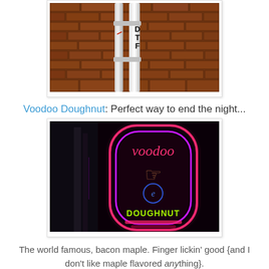[Figure (photo): Photo of a brick wall with a white pipe running vertically, with letters D, T, F printed on it]
Voodoo Doughnut: Perfect way to end the night...
[Figure (photo): Night photo of the Voodoo Doughnut neon sign glowing in pink, purple, and green neon lights against a dark background]
The world famous, bacon maple. Finger lickin' good {and I don't like maple flavored anything}.